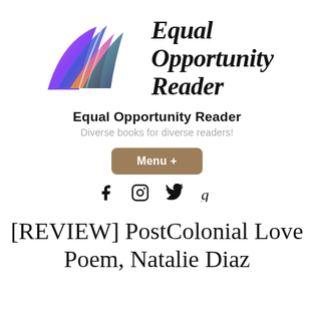[Figure (logo): Equal Opportunity Reader logo: colorful abstract book/butterfly wings in pink, purple, teal, orange, with bold italic serif text 'Equal Opportunity Reader' beside it]
Equal Opportunity Reader
Diverse books for diverse readers!
Menu +
[Figure (infographic): Social media icons: Facebook, Instagram, Twitter, Goodreads]
[REVIEW] PostColonial Love Poem, Natalie Diaz